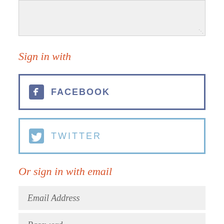[Figure (screenshot): Text area input box (gray background) with resize handle at bottom right]
Sign in with
[Figure (other): Facebook sign-in button with Facebook icon and FACEBOOK label, dark blue border]
[Figure (other): Twitter sign-in button with Twitter bird icon and TWITTER label, light blue border]
Or sign in with email
[Figure (screenshot): Email Address input field with gray background and italic placeholder text]
[Figure (screenshot): Password input field with gray background and italic placeholder text (partially visible)]